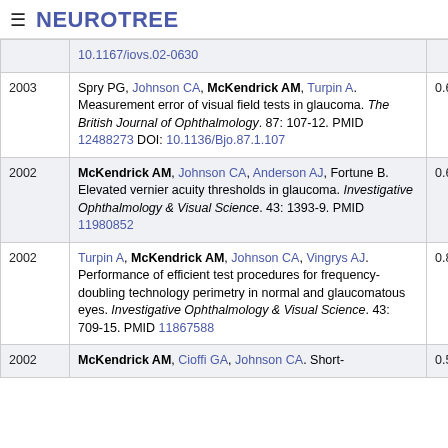≡ NEUROTREE
| Year | Reference | Score |
| --- | --- | --- |
|  | 10.1167/iovs.02-0630 |  |
| 2003 | Spry PG, Johnson CA, McKendrick AM, Turpin A. Measurement error of visual field tests in glaucoma. The British Journal of Ophthalmology. 87: 107-12. PMID 12488273 DOI: 10.1136/Bjo.87.1.107 | 0.696 |
| 2002 | McKendrick AM, Johnson CA, Anderson AJ, Fortune B. Elevated vernier acuity thresholds in glaucoma. Investigative Ophthalmology & Visual Science. 43: 1393-9. PMID 11980852 | 0.639 |
| 2002 | Turpin A, McKendrick AM, Johnson CA, Vingrys AJ. Performance of efficient test procedures for frequency-doubling technology perimetry in normal and glaucomatous eyes. Investigative Ophthalmology & Visual Science. 43: 709-15. PMID 11867588 | 0.831 |
| 2002 | McKendrick AM, Cioffi GA, Johnson CA. Short- | 0.513 |